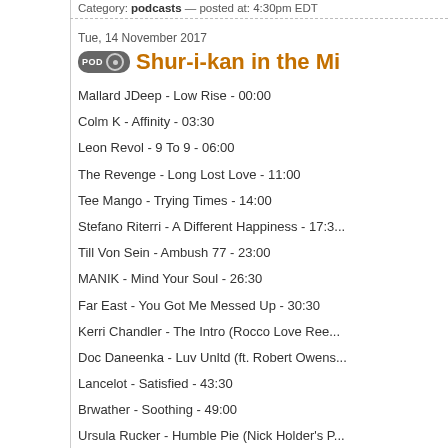Category: podcasts — posted at: 4:30pm EDT
Tue, 14 November 2017
Shur-i-kan in the Mi...
Mallard JDeep - Low Rise - 00:00
Colm K - Affinity - 03:30
Leon Revol - 9 To 9 - 06:00
The Revenge - Long Lost Love - 11:00
Tee Mango - Trying Times - 14:00
Stefano Riterri - A Different Happiness - 17:3...
Till Von Sein - Ambush 77 - 23:00
MANIK - Mind Your Soul - 26:30
Far East - You Got Me Messed Up - 30:30
Kerri Chandler - The Intro (Rocco Love Ree...
Doc Daneenka - Luv Unltd (ft. Robert Owens...
Lancelot - Satisfied - 43:30
Brwather - Soothing - 49:00
Ursula Rucker - Humble Pie (Nick Holder's...
Jose Vizcaino - Recoding Desires (Pablo Bo...
Direct download: Shur-i-kan in the Mix ... Novemb...